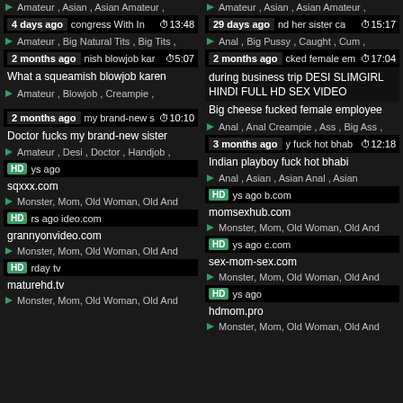Amateur, Asian, Asian Amateur,
Amateur, Asian, Asian Amateur,
4 days ago | Congress With In | 13:48
29 days ago | nd her sister ca | 15:17
Amateur, Big Natural Tits, Big Tits,
Anal, Big Pussy, Caught, Cum,
2 months ago | nish blowjob kar | 5:07
2 months ago | cked female em | 17:04
What a squeamish blowjob karen
during business trip DESI SLIMGIRL HINDI FULL HD SEX VIDEO
Amateur, Blowjob, Creampie,
Big cheese fucked female employee
Anal, Anal Creampie, Ass, Big Ass,
2 months ago | my brand-new s | 10:10
3 months ago | y fuck hot bhab | 12:18
Doctor fucks my brand-new sister
Indian playboy fuck hot bhabi
Amateur, Desi, Doctor, Handjob,
Anal, Asian, Asian Anal, Asian
HD | ys ago
HD | ys ago b.com
sqxxx.com
momsexhub.com
Monster, Mom, Old Woman, Old And
Monster, Mom, Old Woman, Old And
HD | rs ago | ideo.com
HD | ys ago | c.com
grannyonvideo.com
sex-mom-sex.com
Monster, Mom, Old Woman, Old And
Monster, Mom, Old Woman, Old And
HD | rday | tv
HD | ys ago
maturehd.tv
hdmom.pro
Monster, Mom, Old Woman, Old And
Monster, Mom, Old Woman, Old And